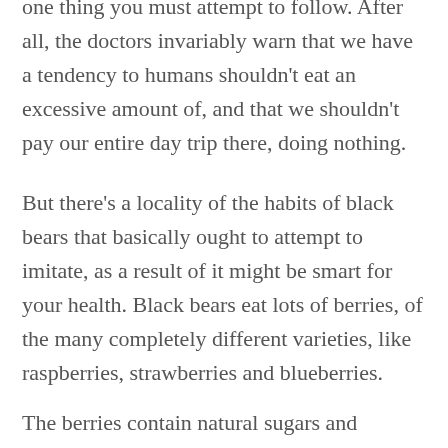one thing you must attempt to follow. After all, the doctors invariably warn that we have a tendency to humans shouldn't eat an excessive amount of, and that we shouldn't pay our entire day trip there, doing nothing.
But there's a locality of the habits of black bears that basically ought to attempt to imitate, as a result of it might be smart for your health. Black bears eat lots of berries, of the many completely different varieties, like raspberries, strawberries and blueberries.
The berries contain natural sugars and wonderful